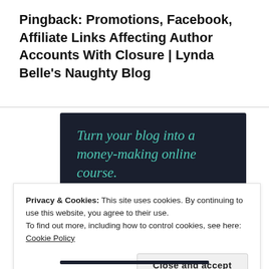Pingback: Promotions, Facebook, Affiliate Links Affecting Author Accounts With Closure | Lynda Belle's Naughty Blog
[Figure (infographic): Dark navy advertisement banner with teal italic text reading 'Turn your blog into a money-making online course.' and a teal rounded 'Learn More' button.]
Privacy & Cookies: This site uses cookies. By continuing to use this website, you agree to their use.
To find out more, including how to control cookies, see here: Cookie Policy
Close and accept